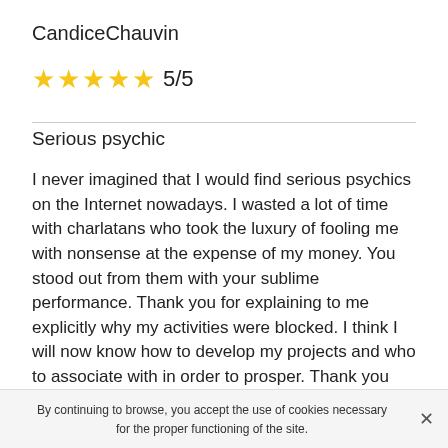CandiceChauvin
★★★★★ 5/5
Serious psychic
I never imagined that I would find serious psychics on the Internet nowadays. I wasted a lot of time with charlatans who took the luxury of fooling me with nonsense at the expense of my money. You stood out from them with your sublime performance. Thank you for explaining to me explicitly why my activities were blocked. I think I will now know how to develop my projects and who to associate with in order to prosper. Thank you from the bottom of my heart for your predictions.
By continuing to browse, you accept the use of cookies necessary for the proper functioning of the site.